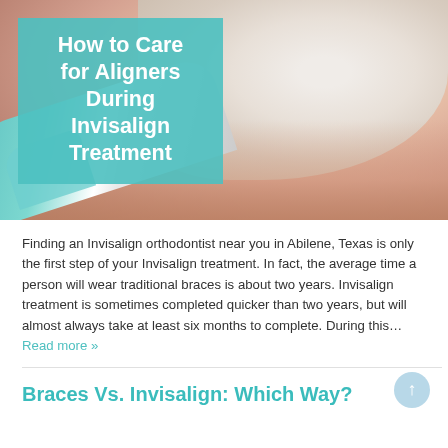[Figure (photo): Close-up photo of a woman smiling showing teeth with aligners, with a teal/mint colored toothbrush in the lower portion. A teal overlay box in the upper left contains the article title text.]
How to Care for Aligners During Invisalign Treatment
Finding an Invisalign orthodontist near you in Abilene, Texas is only the first step of your Invisalign treatment. In fact, the average time a person will wear traditional braces is about two years. Invisalign treatment is sometimes completed quicker than two years, but will almost always take at least six months to complete. During this… Read more »
Braces Vs. Invisalign: Which Way?